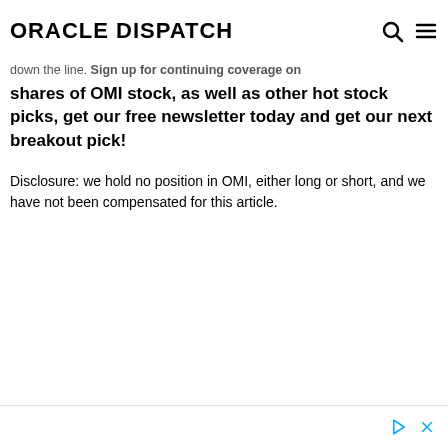ORACLE DISPATCH
down the line. Sign up for continuing coverage on shares of OMI stock, as well as other hot stock picks, get our free newsletter today and get our next breakout pick!
Disclosure: we hold no position in OMI, either long or short, and we have not been compensated for this article.